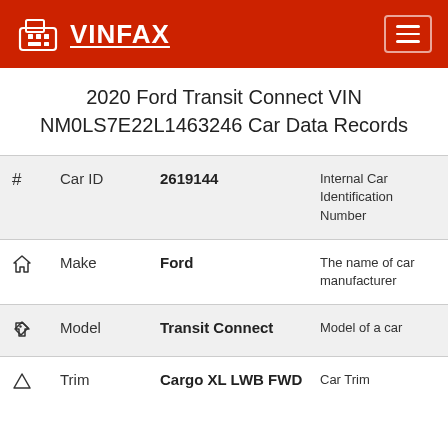VINFAX
2020 Ford Transit Connect VIN NM0LS7E22L1463246 Car Data Records
| # | Field | Value | Description |
| --- | --- | --- | --- |
| # | Car ID | 2619144 | Internal Car Identification Number |
| home | Make | Ford | The name of car manufacturer |
| tag | Model | Transit Connect | Model of a car |
| triangle | Trim | Cargo XL LWB FWD | Car Trim |